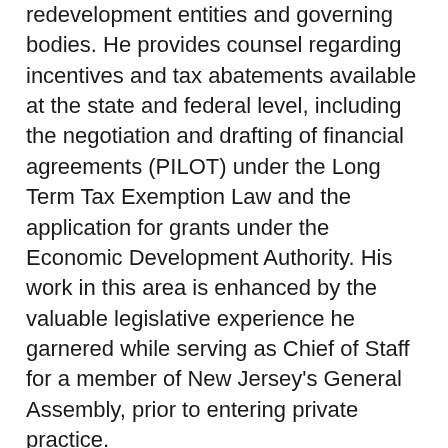redevelopment entities and governing bodies. He provides counsel regarding incentives and tax abatements available at the state and federal level, including the negotiation and drafting of financial agreements (PILOT) under the Long Term Tax Exemption Law and the application for grants under the Economic Development Authority. His work in this area is enhanced by the valuable legislative experience he garnered while serving as Chief of Staff for a member of New Jersey's General Assembly, prior to entering private practice.
Mr. Mlenak also maintains a strong practice in the area of community association law, providing strategic guidance and general counseling to condominium and homeowners association clients across a broad range of legal issues. His work encompasses the interpretation and amendment of governing documents and by-laws, drafting contracts, collection of delinquent assessments, the...